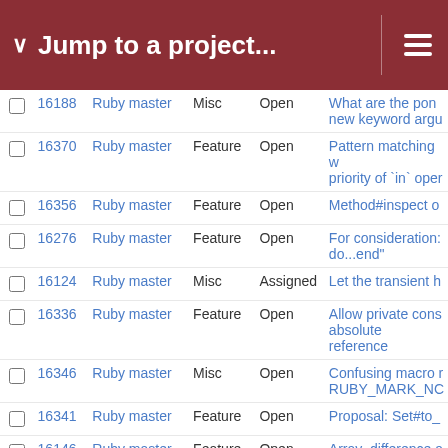Jump to a project...
|  | # | Project | Tracker | Status | Subject |
| --- | --- | --- | --- | --- | --- |
|  | 16188 | Ruby master | Misc | Open | What are the pon new keyword argu |
|  | 16370 | Ruby master | Feature | Open | Pattern matching w priority of `in` oper |
|  | 16356 | Ruby master | Feature | Open | Method#inspect o |
|  | 16276 | Ruby master | Feature | Open | For consideration: do...end" |
|  | 16124 | Ruby master | Misc | Assigned | Let the transient h |
|  | 16336 | Ruby master | Feature | Open | Allow private cons absolute reference |
|  | 16346 | Ruby master | Misc | Open | Confusing macro r RUBY_MARK_NC |
|  | 16341 | Ruby master | Feature | Open | Proposal: Set#to_ |
|  | 16146 | Ruby master | Feature | Open | Array .difference a |
|  | 16296 | Ruby master | Feature | Open | Alternative behavi is not in method d |
|  | 11660 | Ruby master | Feature | Open | a falsy value (simi facilitates forwardi |
|  | 15899 | Ruby master | Feature | Open | String#before and |
|  | 16287 | Ruby master | Feature | Open | Proposal to add .s |